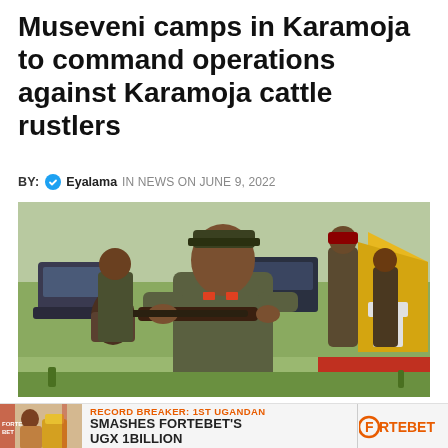Museveni camps in Karamoja to command operations against Karamoja cattle rustlers
BY: Eyalama IN NEWS ON JUNE 9, 2022
[Figure (photo): A man in military uniform holding a firearm, standing outdoors with military personnel and vehicles in the background. A yellow tent and red carpet are visible.]
[Figure (infographic): Fortebet advertisement banner: RECORD BREAKER: 1ST UGANDAN SMASHES FORTEBET'S UGX 1BILLION, with Fortebet logo on the right and a photo of a person on the left.]